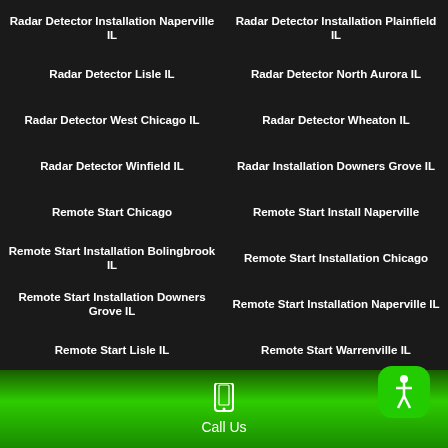Radar Detector Installation Naperville IL
Radar Detector Installation Plainfield IL
Radar Detector Lisle IL
Radar Detector North Aurora IL
Radar Detector West Chicago IL
Radar Detector Wheaton IL
Radar Detector Winfield IL
Radar Installation Downers Grove IL
Remote Start Chicago
Remote Start Install Naperville
Remote Start Installation Bolingbrook IL
Remote Start Installation Chicago
Remote Start Installation Downers Grove IL
Remote Start Installation Naperville IL
Remote Start Lisle IL
Remote Start Warrenville IL
Remote Start West Chicago IL
Remote Start Wheaton IL
Remote Start Winfield IL
Remote Starters Naperville
Remote Starters North Aurora IL
Remote Starters Plainfield IL
Call Us